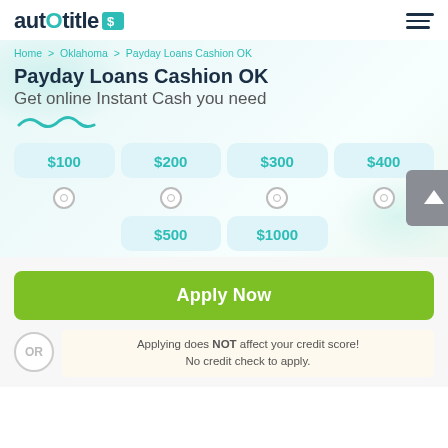[Figure (logo): autoO title logo with teal dollar sign badge]
Home > Oklahoma > Payday Loans Cashion OK
Payday Loans Cashion OK
Get online Instant Cash you need
[Figure (illustration): Decorative teal squiggle/wave graphic]
$100 $200 $300 $400 $500 $1000 loan amount selector buttons
Apply Now
Applying does NOT affect your credit score! No credit check to apply.